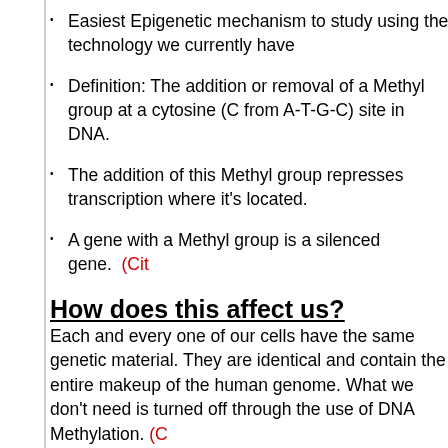Easiest Epigenetic mechanism to study using the technology we currently have
Definition: The addition or removal of a Methyl group at a cytosine (C from A-T-G-C) site in DNA.
The addition of this Methyl group represses transcription where it's located.
A gene with a Methyl group is a silenced gene. (Cit...
How does this affect us?
Each and every one of our cells have the same genetic m... identical and contain the entire makeup of the human gen... need is turned off through the use of DNA Methylation. (C...
Changes in some Methylation patterns are called ep...
Epimutations result in a differently expressed gene...
Epimutations may even lead to cancer if the genes...